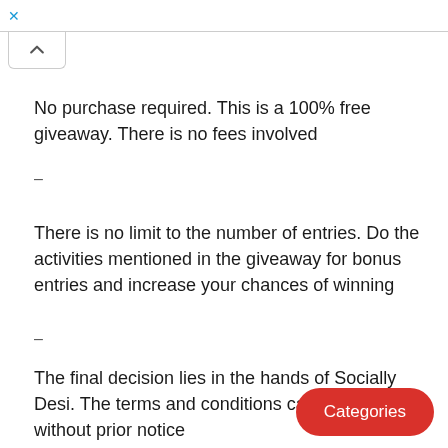×
No purchase required. This is a 100% free giveaway. There is no fees involved
–
There is no limit to the number of entries. Do the activities mentioned in the giveaway for bonus entries and increase your chances of winning
–
The final decision lies in the hands of Socially Desi. The terms and conditions can change without prior notice
Categories